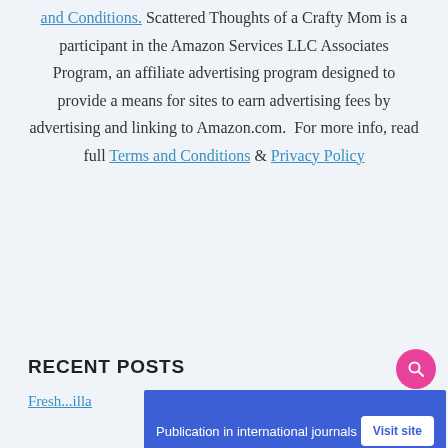and Conditions. Scattered Thoughts of a Crafty Mom is a participant in the Amazon Services LLC Associates Program, an affiliate advertising program designed to provide a means for sites to earn advertising fees by advertising and linking to Amazon.com.  For more info, read full Terms and Conditions & Privacy Policy
RECENT POSTS
Fresh...illa
[Figure (other): Advertisement banner: 'Publication in international journals' with 'Visit site' button, blue background, with X|> ad indicator icons at bottom left]